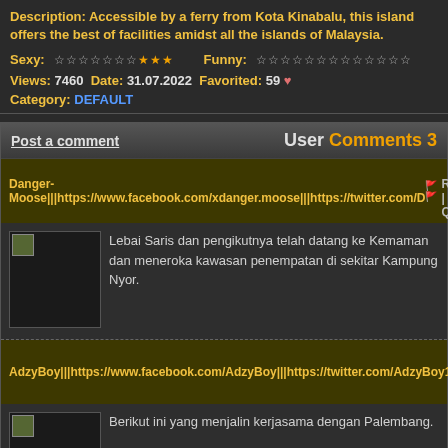Description: Accessible by a ferry from Kota Kinabalu, this island offers the best of facilities amidst all the islands of Malaysia.
Sexy: ☆☆☆☆☆☆☆★★★  Funny: ☆☆☆☆☆☆☆☆☆☆☆☆☆
Views: 7460  Date: 31.07.2022  Favorited: 59 ♥  Category: DEFAULT
Post a comment  User Comments 3
Danger-Moose|||https://www.facebook.com/xdanger.moose|||https://twitter.com/D  Reply | Quote
Lebai Saris dan pengikutnya telah datang ke Kemaman dan meneroka kawasan penempatan di sekitar Kampung Nyor.
AdzyBoy|||https://www.facebook.com/AdzyBoy|||https://twitter.com/AdzyBoy17||  Reply | Quote
Berikut ini yang menjalin kerjasama dengan Palembang.
Brophs|||https://www.facebook.com/Brophs-Boxing-Fitness-351249802366448/|||